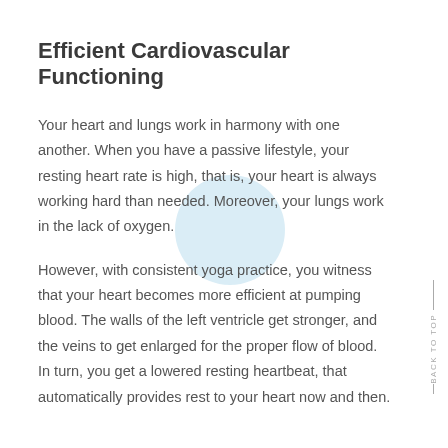Efficient Cardiovascular Functioning
Your heart and lungs work in harmony with one another. When you have a passive lifestyle, your resting heart rate is high, that is, your heart is always working hard than needed. Moreover, your lungs work in the lack of oxygen.
However, with consistent yoga practice, you witness that your heart becomes more efficient at pumping blood. The walls of the left ventricle get stronger, and the veins to get enlarged for the proper flow of blood. In turn, you get a lowered resting heartbeat, that automatically provides rest to your heart now and then.